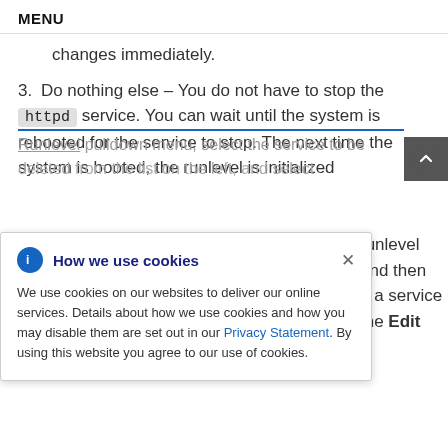MENU
changes immediately.
3. Do nothing else – You do not have to stop the httpd service. You can wait until the system is rebooted for the service to stop. The next time the system is booted, the runlevel is initialized
How we use cookies — We use cookies on our websites to deliver our online services. Details about how we use cookies and how you may disable them are set out in our Privacy Statement. By using this website you agree to our use of cookies.
runlevel and then e a service the Edit
Runlevel pulldown menu, select the service to be deleted from the list on the left, and select